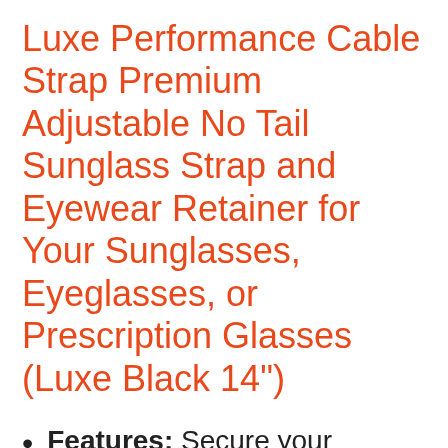Luxe Performance Cable Strap Premium Adjustable No Tail Sunglass Strap and Eyewear Retainer for Your Sunglasses, Eyeglasses, or Prescription Glasses (Luxe Black 14")
Features: Secure your favorite eyewear & never lose a pair of glasses again no matter the adventure. Improved quality, increased tension, multiple length